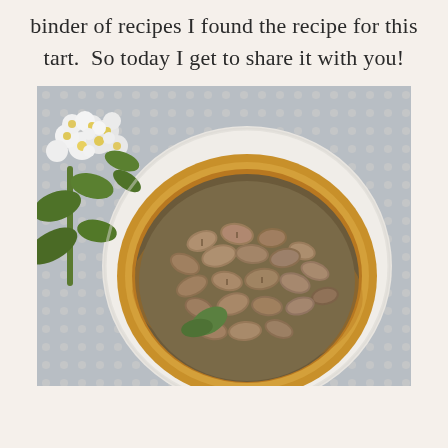binder of recipes I found the recipe for this tart.  So today I get to share it with you!
[Figure (photo): A baked mushroom tart in a white ceramic dish, topped with sliced brown mushrooms. White flowers and green leaves are visible in the upper left corner. The background shows a grey dotted tablecloth.]